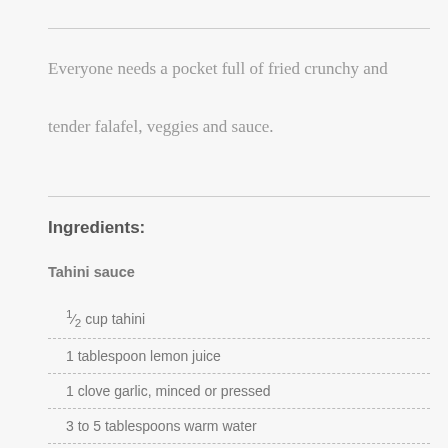Everyone needs a pocket full of fried crunchy and tender falafel, veggies and sauce.
Ingredients:
Tahini sauce
½ cup tahini
1 tablespoon lemon juice
1 clove garlic, minced or pressed
3 to 5 tablespoons warm water
kosher salt